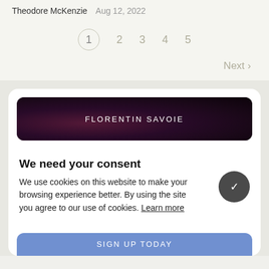Theodore McKenzie  Aug 12, 2022
1  2  3  4  5
Next ›
[Figure (other): Dark banner with purple/magenta radial gradient background and text 'FLORENTIN SAVOIE' in white spaced caps]
We need your consent
We use cookies on this website to make your browsing experience better. By using the site you agree to our use of cookies. Learn more
[Figure (other): Partial blue banner at bottom with text 'SIGN UP TODAY']